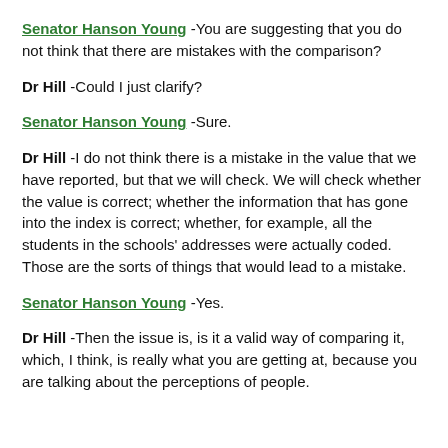Senator Hanson Young -You are suggesting that you do not think that there are mistakes with the comparison?
Dr Hill -Could I just clarify?
Senator Hanson Young -Sure.
Dr Hill -I do not think there is a mistake in the value that we have reported, but that we will check. We will check whether the value is correct; whether the information that has gone into the index is correct; whether, for example, all the students in the schools' addresses were actually coded. Those are the sorts of things that would lead to a mistake.
Senator Hanson Young -Yes.
Dr Hill -Then the issue is, is it a valid way of comparing it, which, I think, is really what you are getting at, because you are talking about the perceptions of people.